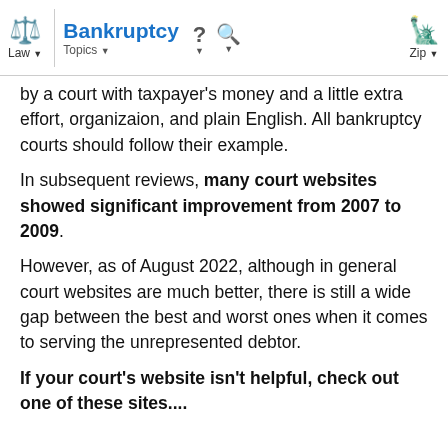Law | Bankruptcy | Topics | ? | Search | Zip
by a court with taxpayer's money and a little extra effort, organizaion, and plain English. All bankruptcy courts should follow their example.
In subsequent reviews, many court websites showed significant improvement from 2007 to 2009.
However, as of August 2022, although in general court websites are much better, there is still a wide gap between the best and worst ones when it comes to serving the unrepresented debtor.
If your court's website isn't helpful, check out one of these sites....